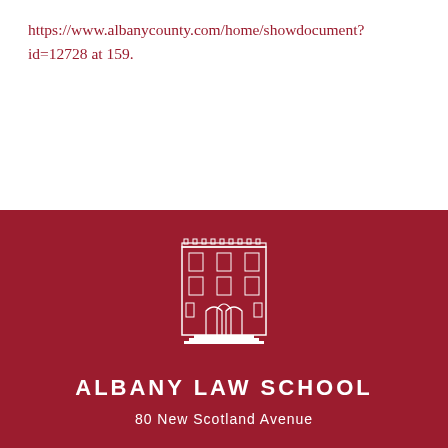https://www.albanycounty.com/home/showdocument?id=12728 at 159.
[Figure (logo): Albany Law School building illustration in white on dark red background]
ALBANY LAW SCHOOL
80 New Scotland Avenue